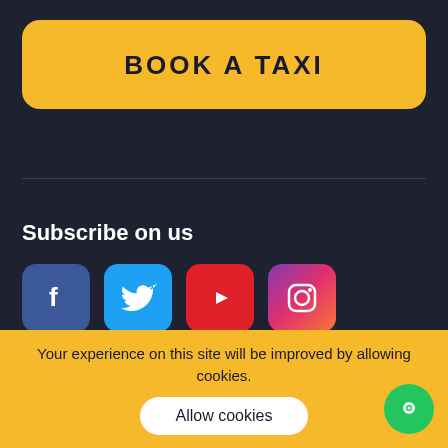BOOK A TAXI
Subscribe on us
[Figure (illustration): Social media icons: Facebook (blue), Twitter (light blue), YouTube (red), Instagram (gradient purple-red-orange)]
About
Your experience on this site will be improved by allowing cookies.
Allow cookies